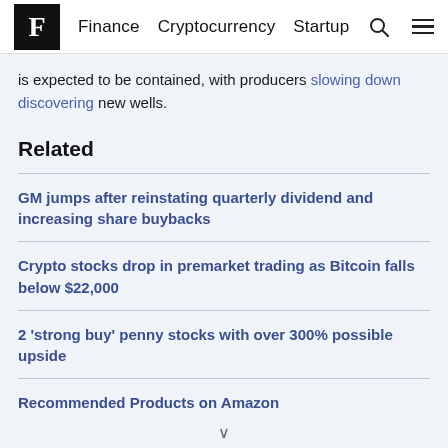F | Finance  Cryptocurrency  Startup
is expected to be contained, with producers slowing down discovering new wells.
Related
GM jumps after reinstating quarterly dividend and increasing share buybacks
Crypto stocks drop in premarket trading as Bitcoin falls below $22,000
2 'strong buy' penny stocks with over 300% possible upside
Recommended Products on Amazon